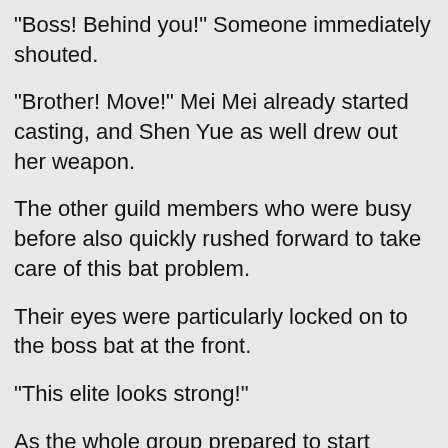"Boss! Behind you!" Someone immediately shouted.
"Brother! Move!" Mei Mei already started casting, and Shen Yue as well drew out her weapon.
The other guild members who were busy before also quickly rushed forward to take care of this bat problem.
Their eyes were particularly locked on to the boss bat at the front.
"This elite looks strong!"
As the whole group prepared to start attacking the bats, Liam hurriedly raised his hands and laughed. "Hey! Hey! Hey! Stop attacking these cuties!"
"Eh? What is cute?" Mei Mei frowned. "This thing?"